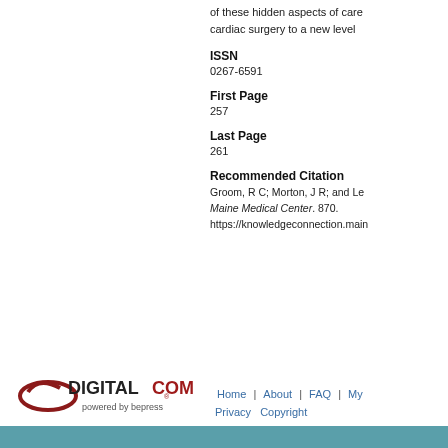of these hidden aspects of care … cardiac surgery to a new level
ISSN
0267-6591
First Page
257
Last Page
261
Recommended Citation
Groom, R C; Morton, J R; and Le… Maine Medical Center. 870. https://knowledgeconnection.main…
[Figure (logo): Digital Commons powered by bepress logo]
Home | About | FAQ | My… Privacy  Copyright